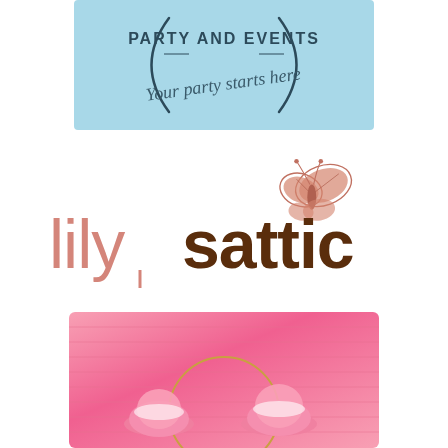[Figure (logo): Party and Events logo on light blue background with curved text 'PARTY AND EVENTS' and script text 'Your party starts here']
[Figure (logo): lilysattic logo with pink butterfly graphic and text 'lily' in pink and 'sattic' in dark brown]
[Figure (logo): Pink gradient background with gold circular frame and decorative cupcake/floral elements at bottom]